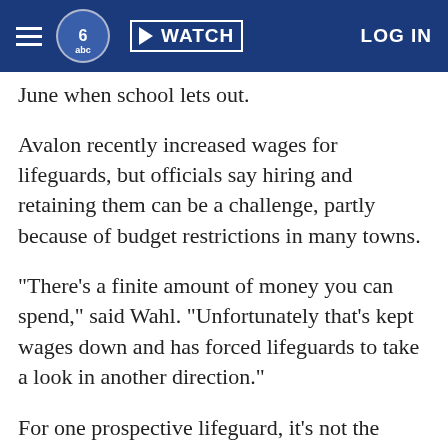WATCH  LOG IN
June when school lets out.
Avalon recently increased wages for lifeguards, but officials say hiring and retaining them can be a challenge, partly because of budget restrictions in many towns.
"There's a finite amount of money you can spend," said Wahl. "Unfortunately that's kept wages down and has forced lifeguards to take a look in another direction."
For one prospective lifeguard, it's not the wages that have him hesitating, but the location.